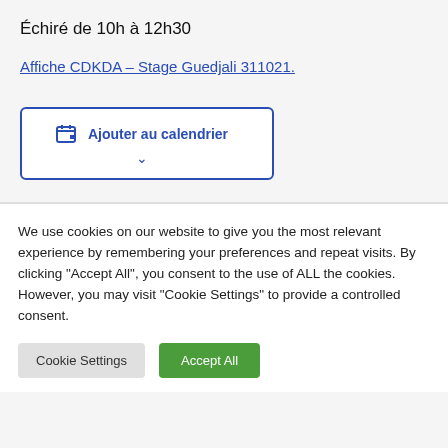Échiré de 10h à 12h30
Affiche CDKDA – Stage Guedjali 311021.
Ajouter au calendrier
We use cookies on our website to give you the most relevant experience by remembering your preferences and repeat visits. By clicking "Accept All", you consent to the use of ALL the cookies. However, you may visit "Cookie Settings" to provide a controlled consent.
Cookie Settings
Accept All